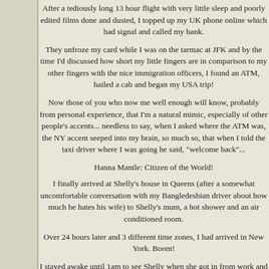After a tediously long 13 hour flight with very little sleep and poorly edited films done and dusted, I topped up my UK phone online which had signal and called my bank.
They unfroze my card while I was on the tarmac at JFK and by the time I'd discussed how short my little fingers are in comparison to my other fingers with the nice immigration officers, I found an ATM, hailed a cab and began my USA trip!
Now those of you who now me well enough will know, probably from personal experience, that I'm a natural mimic, especially of other people's accents... needless to say, when I asked where the ATM was, the NY accent seeped into my brain, so much so, that when I told the taxi driver where I was going he said, "welcome back"...
Hanna Mantle: Citizen of the World!
I finally arrived at Shelly's house in Queens (after a somewhat uncomfortable conversation with my Bangledeshian driver about how much he hates his wife) to Shelly's mum, a hot shower and an air conditioned room.
Over 24 hours later and 3 different time zones, I had arrived in New York. Boom!
I stayed awake until 1am to see Shelly when she got in from work and had a little catch-up before going to bed.